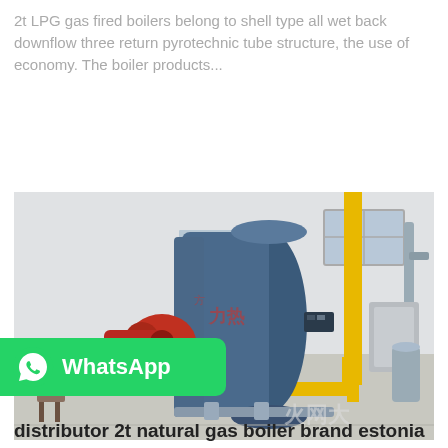2t LPG gas fired boilers belong to shell type all wet back downflow three return pyrotechnic tube structure, the use of economy. The boiler products...
Get Price
[Figure (photo): Industrial LPG/natural gas fired boiler unit with blue cylindrical vessel, red burner attachment, yellow gas piping, installed in a white industrial building room.]
WhatsApp
distributor 2t natural gas boiler brand estonia